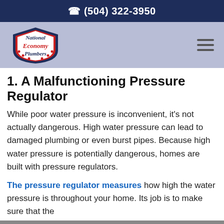☎ (504) 322-3950
[Figure (logo): National Economy Plumbers logo — shield-shaped badge with blue border, red decorative border, white interior, with 'National' in cursive at top, 'Economy' in large cursive red text in center, 'Plumbers' in cursive below, all on white background.]
1. A Malfunctioning Pressure Regulator
While poor water pressure is inconvenient, it's not actually dangerous. High water pressure can lead to damaged plumbing or even burst pipes. Because high water pressure is potentially dangerous, homes are built with pressure regulators.
The pressure regulator measures how high the water pressure is throughout your home. Its job is to make sure that the
Share This  ∨  ×